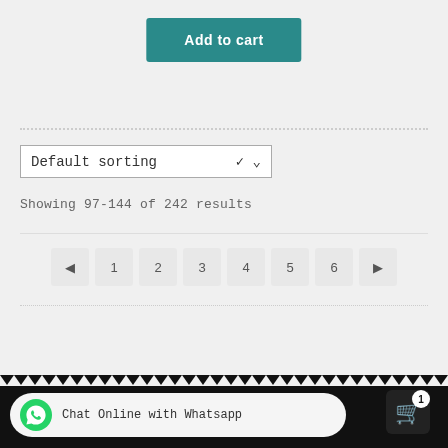Add to cart
Default sorting
Showing 97-144 of 242 results
◄ 1 2 3 4 5 6 ►
Chat Online with Whatsapp